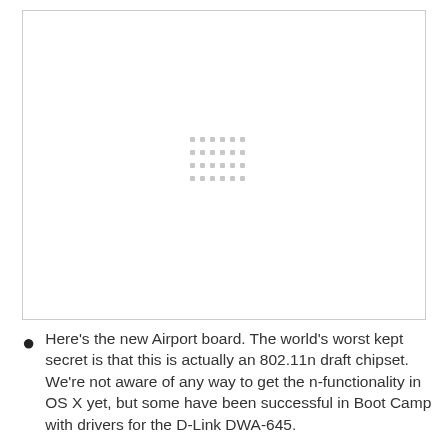[Figure (photo): A large white image placeholder with a small grid of grey dots centered in the middle, inside a light grey border box.]
Here's the new Airport board. The world's worst kept secret is that this is actually an 802.11n draft chipset. We're not aware of any way to get the n-functionality in OS X yet, but some have been successful in Boot Camp with drivers for the D-Link DWA-645.